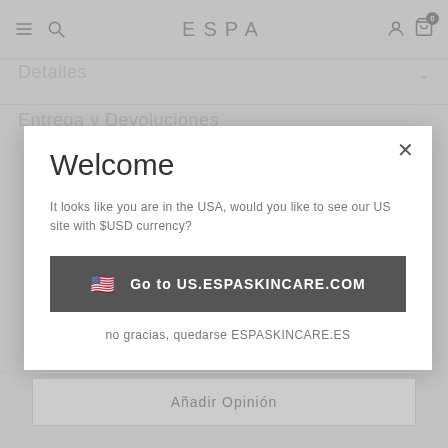ESPA
Detalles
Entrega y Devoluciones
Welcome
It looks like you are in the USA, would you like to see our US site with $USD currency?
Go to US.ESPASKINCARE.COM
no gracias, quedarse ESPASKINCARE.ES
Añadir Opinión